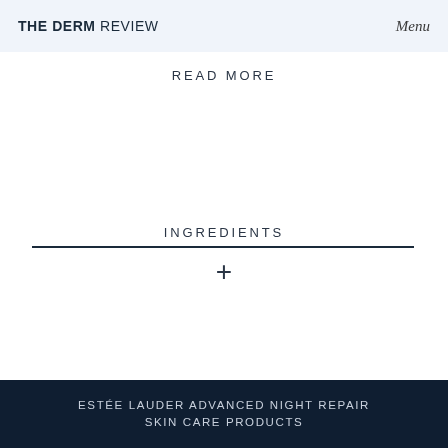THE DERM REVIEW   Menu
READ MORE
INGREDIENTS
+
ESTÉE LAUDER ADVANCED NIGHT REPAIR SKIN CARE PRODUCTS